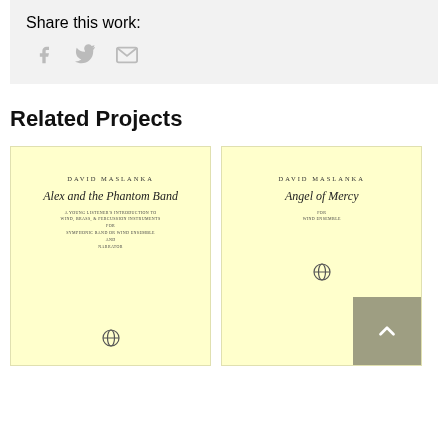Share this work:
[Figure (infographic): Social share icons: Facebook (f), Twitter (bird), Email (envelope)]
Related Projects
[Figure (illustration): Book cover for 'Alex and the Phantom Band' by David Maslanka. Light yellow cover with author name, italic title, subtitle text about wind, brass & percussion instruments for symphonic band or wind ensemble and narrator, and a small publisher logo at bottom.]
[Figure (illustration): Book cover for 'Angel of Mercy' by David Maslanka. Light yellow cover with author name, italic title, subtitle 'for wind ensemble', and a small publisher logo at bottom. A dark tan 'back to top' button overlays the bottom right corner.]